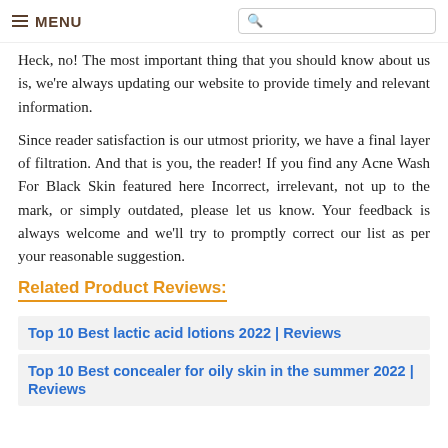≡ MENU [search box]
Heck, no! The most important thing that you should know about us is, we're always updating our website to provide timely and relevant information.
Since reader satisfaction is our utmost priority, we have a final layer of filtration. And that is you, the reader! If you find any Acne Wash For Black Skin featured here Incorrect, irrelevant, not up to the mark, or simply outdated, please let us know. Your feedback is always welcome and we'll try to promptly correct our list as per your reasonable suggestion.
Related Product Reviews:
Top 10 Best lactic acid lotions 2022 | Reviews
Top 10 Best concealer for oily skin in the summer 2022 | Reviews